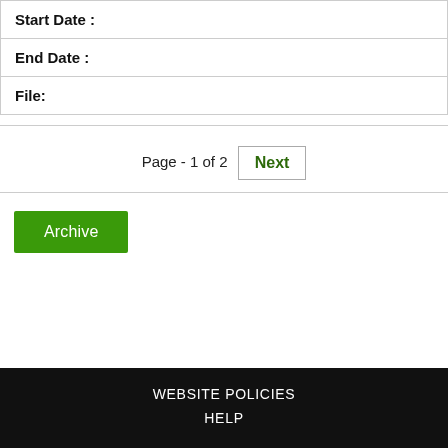| Start Date : |
| End Date : |
| File: |
Page - 1 of 2   Next
Archive
WEBSITE POLICIES
HELP